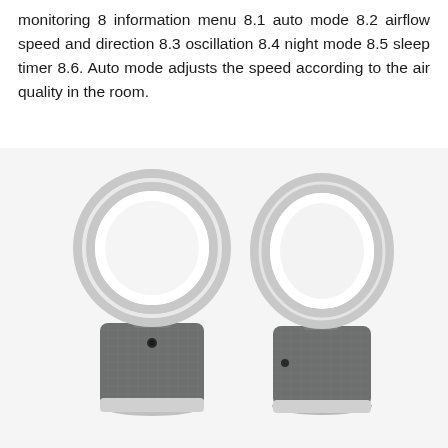monitoring 8 information menu 8.1 auto mode 8.2 airflow speed and direction 8.3 oscillation 8.4 night mode 8.5 sleep timer 8.6. Auto mode adjusts the speed according to the air quality in the room.
[Figure (photo): Two Dyson bladeless purifier fans shown side by side. Left fan faces forward showing the circular ring loop amplifier with white interior and dark grey textured cylindrical base. Right fan is shown at an angle, revealing the ring profile and similar base construction.]